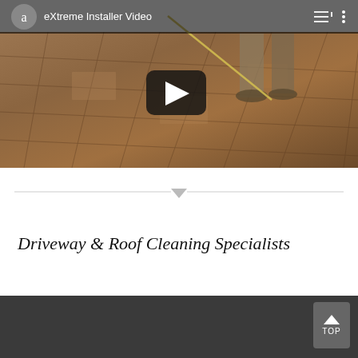[Figure (screenshot): YouTube-style video thumbnail showing eXtreme Installer Video with stamped concrete patio floor and a person's legs visible, with a play button overlay and top navigation bar showing avatar 'a' and video title.]
Driveway & Roof Cleaning Specialists